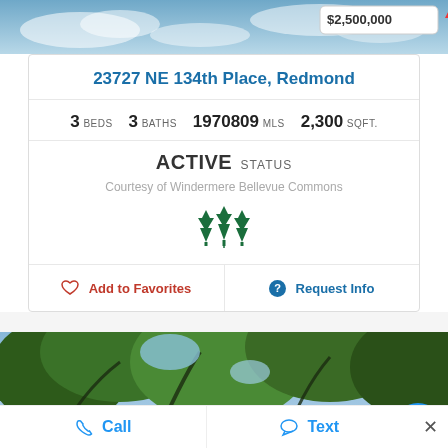[Figure (photo): Top portion of aerial/landscape photo with sky and clouds, partially visible price badge showing $2,500,000+]
23727 NE 134th Place, Redmond
3 BEDS  3 BATHS  1970809 MLS  2,300 SQFT.
ACTIVE STATUS
Courtesy of Windermere Bellevue Commons
[Figure (logo): Windermere triple tree logo in dark green]
Add to Favorites
Request Info
[Figure (photo): Bottom photo showing green trees canopy from below with sky visible]
Call
Text